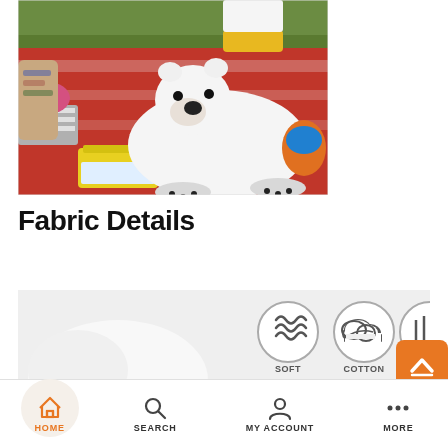[Figure (photo): Photo of a baby/toddler standing on a red picnic blanket outdoors on green grass, with a large white stuffed polar bear toy, colorful plastic toys, and an adult with tattoos partially visible. Yellow container in foreground.]
Fabric Details
[Figure (infographic): Fabric details banner showing circular icons labeled SOFT (coil/steam icon), COTTON (cloud icon), and BREATHABLE (stripe icon) on a light gray background, with a partial white plush toy visible.]
HOME   SEARCH   MY ACCOUNT   MORE